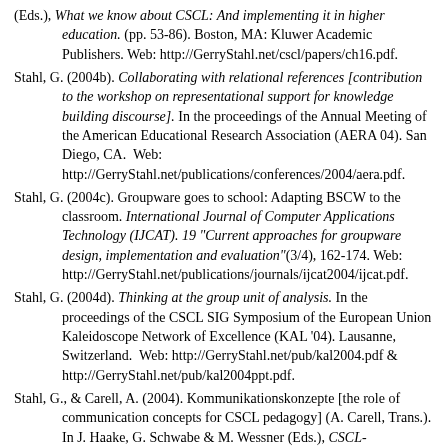(Eds.), What we know about CSCL: And implementing it in higher education. (pp. 53-86). Boston, MA: Kluwer Academic Publishers. Web: http://GerryStahl.net/cscl/papers/ch16.pdf.
Stahl, G. (2004b). Collaborating with relational references [contribution to the workshop on representational support for knowledge building discourse]. In the proceedings of the Annual Meeting of the American Educational Research Association (AERA 04). San Diego, CA. Web: http://GerryStahl.net/publications/conferences/2004/aera.pdf.
Stahl, G. (2004c). Groupware goes to school: Adapting BSCW to the classroom. International Journal of Computer Applications Technology (IJCAT). 19 "Current approaches for groupware design, implementation and evaluation"(3/4), 162-174. Web: http://GerryStahl.net/publications/journals/ijcat2004/ijcat.pdf.
Stahl, G. (2004d). Thinking at the group unit of analysis. In the proceedings of the CSCL SIG Symposium of the European Union Kaleidoscope Network of Excellence (KAL '04). Lausanne, Switzerland. Web: http://GerryStahl.net/pub/kal2004.pdf & http://GerryStahl.net/pub/kal2004ppt.pdf.
Stahl, G., & Carell, A. (2004). Kommunikationskonzepte [the role of communication concepts for CSCL pedagogy] (A. Carell, Trans.). In J. Haake, G. Schwabe & M. Wessner (Eds.), CSCL-kompendium. (pp. 229-237). Frankfurt, Germany: Oldenburg. Web: http://GerryStahl.net/publications/journals/rolle.pdf.
Stahl, G., Shumar, W., & Weimar, S. (2004). Poster: Diversity in virtual math teams. Presented at the Sixth International Conference of